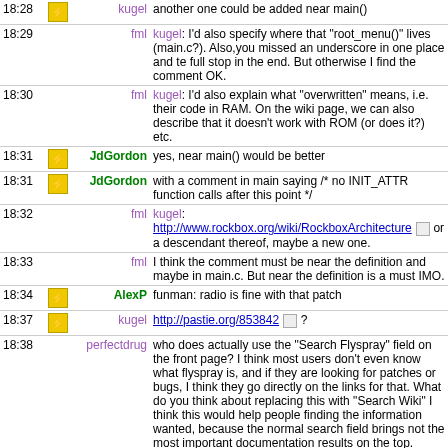| Time | Icon | Nick | Message |
| --- | --- | --- | --- |
| 18:28 | icon | kugel | another one could be added near main() |
| 18:29 |  | fml | kugel: I'd also specify where that "root_menu()" lives (main.c?). Also,you missed an underscore in one place and te full stop in the end. But otherwise I find the comment OK. |
| 18:30 |  | fml | kugel: I'd also explain what "overwritten" means, i.e. their code in RAM. On the wiki page, we can also describe that it doesn't work with ROM (or does it?) etc. |
| 18:31 | icon | JdGordon | yes, near main() would be better |
| 18:31 | icon | JdGordon | with a comment in main saying /* no INIT_ATTR function calls after this point */ |
| 18:32 |  | fml | kugel: http://www.rockbox.org/wiki/RockboxArchitecture or a descendant thereof, maybe a new one. |
| 18:33 |  | fml | I think the comment must be near the definition and maybe in main.c. But near the definition is a must IMO. |
| 18:34 | icon | AlexP | funman: radio is fine with that patch |
| 18:37 | icon | kugel | http://pastie.org/853842 ? |
| 18:38 |  | perfectdrug | who does actually use the "Search Flyspray" field on the front page? I think most users don't even know what flyspray is, and if they are looking for patches or bugs, I think they go directly on the links for that. What do you think about replacing this with "Search Wiki" I think this would help people finding the information wanted, because the normal search field brings not the most important documentation results on the top. |
| 18:40 |  | perfectdrug | reffering to http://forums.rockbox.org/index.php?topic=24097 , i think it is easy with the wiki search to find the plugindict page |